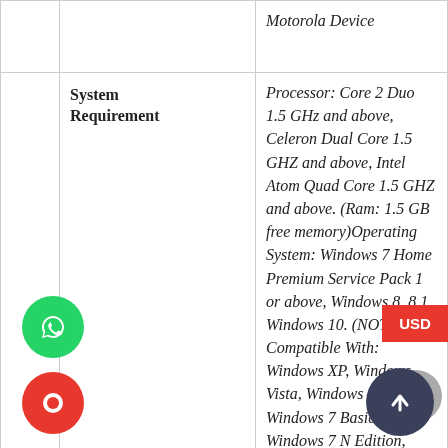|  |  |  |
| --- | --- | --- |
|  |  | Motorola Device |
|  | System Requirement | Processor: Core 2 Duo 1.5 GHz and above, Celeron Dual Core 1.5 GHZ and above, Intel Atom Quad Core 1.5 GHZ and above. (Ram: 1.5 GB free memory)Operating System: Windows 7 Home Premium Service Pack 1 or above, Windows 8, 8.1, Windows 10. (NOT Compatible With: Windows XP, Windows Vista, Windows 7 Starter, Windows 7 Basic, Windows 7 N Edition, Windows 7 KN Edition. (Connection to external Devices is not allowed to |